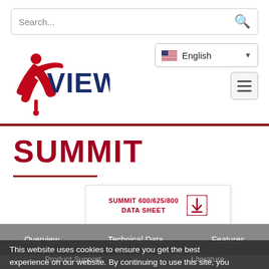Search...
English
[Figure (logo): VIEW logo with stylized runner/figure in red and VIEW text in dark blue]
SUMMIT
SUMMIT 600/625/800 DATA SHEET
Overview   Technical Data   Features
This website uses cookies to ensure you get the best experience on our website. By continuing to use this site, you
Product Support   Literature